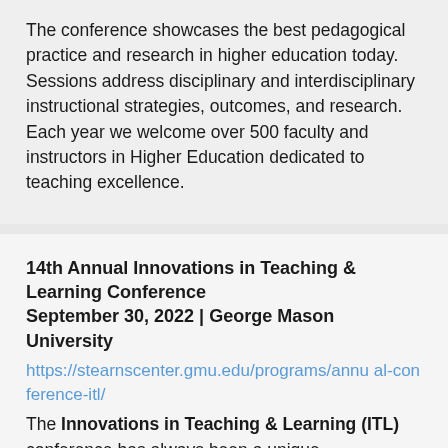The conference showcases the best pedagogical practice and research in higher education today. Sessions address disciplinary and interdisciplinary instructional strategies, outcomes, and research. Each year we welcome over 500 faculty and instructors in Higher Education dedicated to teaching excellence.
14th Annual Innovations in Teaching & Learning Conference September 30, 2022 | George Mason University
https://stearnscenter.gmu.edu/programs/annual-conference-itl/
The Innovations in Teaching & Learning (ITL) conference has always been a unique